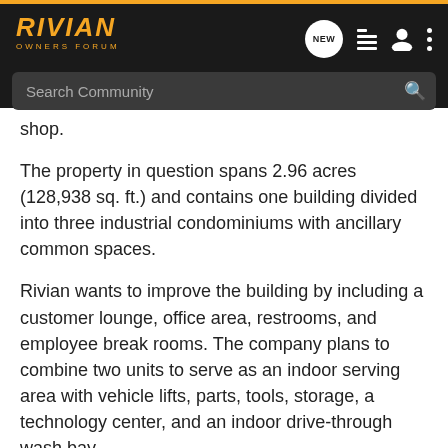[Figure (screenshot): Rivian Owners Forum website header with logo, navigation icons, and search bar]
shop.
The property in question spans 2.96 acres (128,938 sq. ft.) and contains one building divided into three industrial condominiums with ancillary common spaces.
Rivian wants to improve the building by including a customer lounge, office area, restrooms, and employee break rooms. The company plans to combine two units to serve as an indoor serving area with vehicle lifts, parts, tools, storage, a technology center, and an indoor drive-through wash bay.
The EV maker also plans to install five Level 3 EV